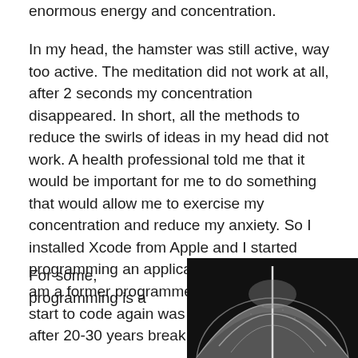enormous energy and concentration.
In my head, the hamster was still active, way too active. The meditation did not work at all, after 2 seconds my concentration disappeared. In short, all the methods to reduce the swirls of ideas in my head did not work. A health professional told me that it would be important for me to do something that would allow me to exercise my concentration and reduce my anxiety. So I installed Xcode from Apple and I started programming an application for the iPhone. I am a former programmer from the 80s. To start to code again was a bit like cycling after 20-30 years break.
For some, programming is a
[Figure (photo): Black and white close-up photograph of what appears to be a dome-shaped object with a line/ridge running vertically through the center, on a dark background.]